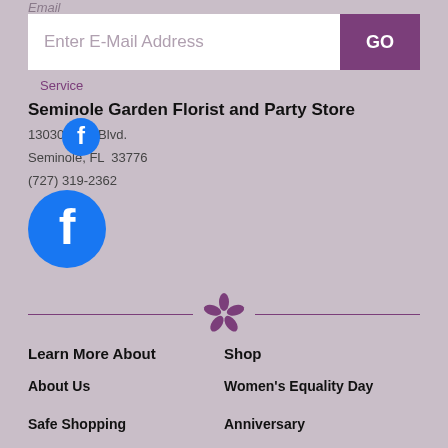Email
Enter E-Mail Address
GO
Service
Seminole Garden Florist and Party Store
13030 Park Blvd.
Seminole, FL  33776
(727) 319-2362
[Figure (logo): Facebook icon small, circular blue logo with white f]
[Figure (logo): Facebook icon large, circular blue logo with white f]
[Figure (logo): Yelp flower/asterisk icon in dark purple, centered between horizontal divider lines]
Learn More About
Shop
About Us
Women's Equality Day
Safe Shopping
Anniversary